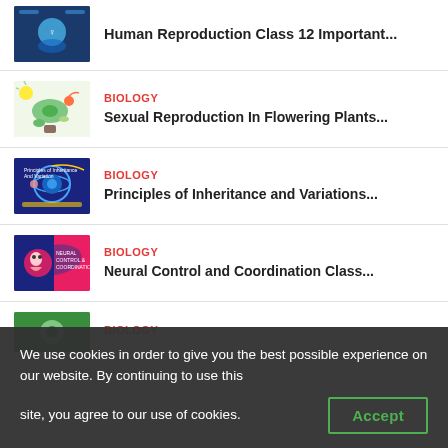Human Reproduction Class 12 Important...
Sexual Reproduction In Flowering Plants...
Principles of Inheritance and Variations...
Neural Control and Coordination Class...
Reproduction in Organisms Class...
We use cookies in order to give you the best possible experience on our website. By continuing to use this site, you agree to our use of cookies.